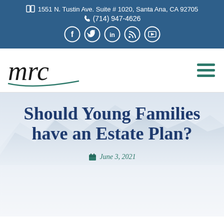1551 N. Tustin Ave. Suite # 1020, Santa Ana, CA 92705 | (714) 947-4626
[Figure (logo): MRC company logo in cursive script with teal underline swoosh, and hamburger menu icon]
Should Young Families have an Estate Plan?
June 3, 2021